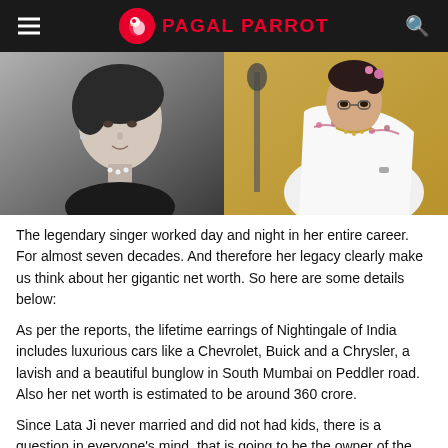PAGAL PARROT
[Figure (photo): Two photos side by side: left is a black-and-white portrait of a young Lata Mangeshkar, right is a color photo of an elderly Lata Mangeshkar in a white saree with floral dupatta, seated near a microphone.]
The legendary singer worked day and night in her entire career. For almost seven decades. And therefore her legacy clearly make us think about her gigantic net worth. So here are some details below:
As per the reports, the lifetime earrings of Nightingale of India includes luxurious cars like a Chevrolet, Buick and a Chrysler, a lavish and a beautiful bunglow in South Mumbai on Peddler road. Also her net worth is estimated to be around 360 crore.
Since Lata Ji never married and did not had kids, there is a question in everyone's mind, that is going to be the owner of the